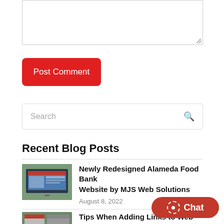[Figure (screenshot): Text area input box (partially shown at top)]
Post Comment
Search
Recent Blog Posts
[Figure (photo): Thumbnail of person using a laptop showing a website]
Newly Redesigned Alameda Food Bank Website by MJS Web Solutions
August 8, 2022
[Figure (photo): Thumbnail image for second blog post]
Tips When Adding Links to Web Pages